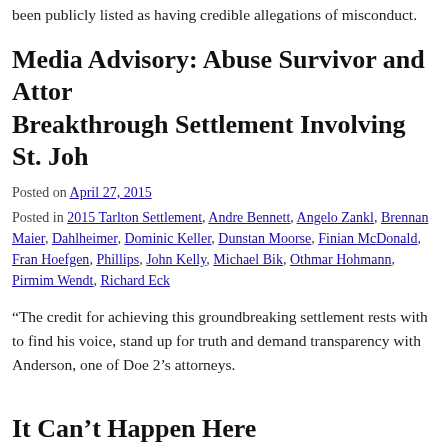been publicly listed as having credible allegations of misconduct.
Media Advisory: Abuse Survivor and Attor Breakthrough Settlement Involving St. Joh
Posted on April 27, 2015
Posted in 2015 Tarlton Settlement, Andre Bennett, Angelo Zankl, Brennan Maier, Dahlheimer, Dominic Keller, Dunstan Moorse, Finian McDonald, Fran Hoefgen, Phillips, John Kelly, Michael Bik, Othmar Hohmann, Pirmim Wendt, Richard Eck
“The credit for achieving this groundbreaking settlement rests with to find his voice, stand up for truth and demand transparency with Anderson, one of Doe 2’s attorneys.
It Can’t Happen Here
Posted on April 14, 2015
Posted in Dan Ward, Jacob Wetterling, Thomas Gillespie
Anyone who was living in the Midwest in the fall of 1989 was fa